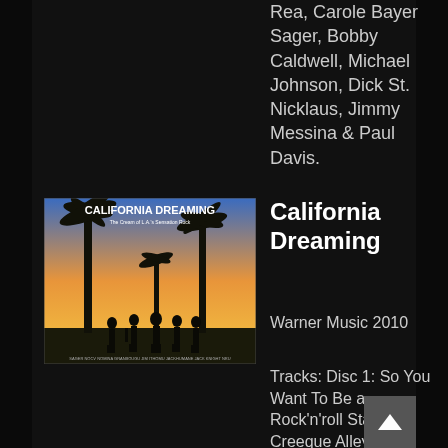Rea, Carole Bayer Sager, Bobby Caldwell, Michael Johnson, Dick St. Nicklaus, Jimmy Messina & Paul Davis.
[Figure (photo): Album cover for 'California Dreaming: The Cream of L.A.'s Sensation Rock' showing silhouettes of people with instruments against a sunset sky with palm trees]
California Dreaming
Warner Music 2010
Tracks: Disc 1: So You Want To Be a Rock'n'roll Star, Creeque Alley, For What It's Worth, Love the One You're With, I Don't Want